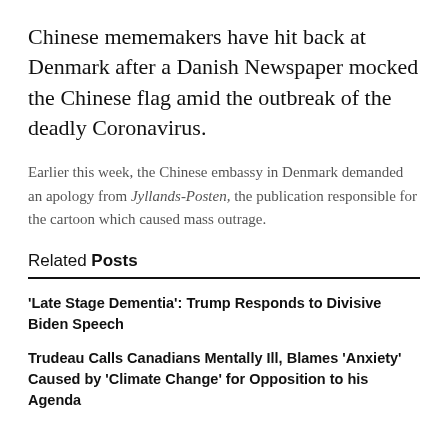Chinese mememakers have hit back at Denmark after a Danish Newspaper mocked the Chinese flag amid the outbreak of the deadly Coronavirus.
Earlier this week, the Chinese embassy in Denmark demanded an apology from Jyllands-Posten, the publication responsible for the cartoon which caused mass outrage.
Related Posts
'Late Stage Dementia': Trump Responds to Divisive Biden Speech
Trudeau Calls Canadians Mentally Ill, Blames 'Anxiety' Caused by 'Climate Change' for Opposition to his Agenda